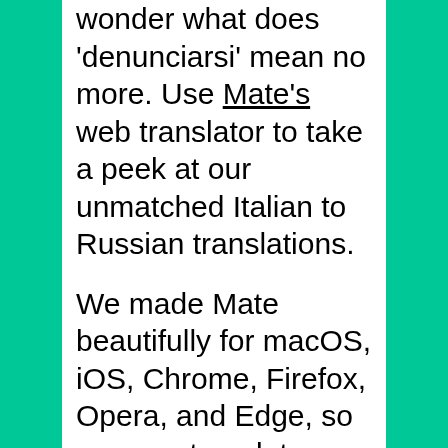wonder what does 'denunciarsi' mean no more. Use Mate's web translator to take a peek at our unmatched Italian to Russian translations.

We made Mate beautifully for macOS, iOS, Chrome, Firefox, Opera, and Edge, so you can translate anywhere there's text. No more app, browser tab switching, or copy-pasting.

The most advanced machine translation power right where you need it. Effortlessly translate between Italian, Russian, and 101 other languages on any website